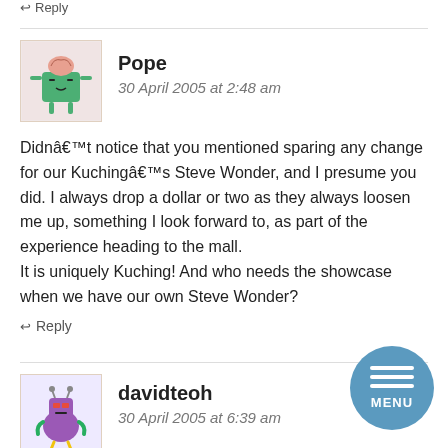↩ Reply
[Figure (illustration): Avatar of commenter Pope — cartoon character with green body and pink brain on top]
Pope
30 April 2005 at 2:48 am
Didnâ€™t notice that you mentioned sparing any change for our Kuchingâ€™s Steve Wonder, and I presume you did. I always drop a dollar or two as they always loosen me up, something I look forward to, as part of the experience heading to the mall.
It is uniquely Kuching! And who needs the showcase when we have our own Steve Wonder?
↩ Reply
[Figure (illustration): Avatar of commenter davidteoh — purple cartoon robot character]
davidteoh
30 April 2005 at 6:39 am